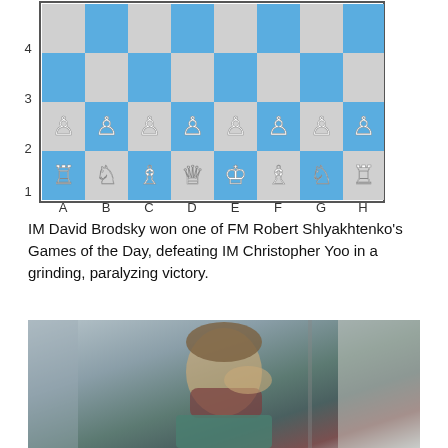[Figure (other): Chess board diagram showing starting position with rows 1-4 visible, pieces on rows 1 and 2 (white setup), rows 3 and 4 empty. Files A-H labeled below, ranks 1-4 labeled on left.]
IM David Brodsky won one of FM Robert Shlyakhtenko's Games of the Day, defeating IM Christopher Yoo in a grinding, paralyzing victory.
[Figure (photo): A young man wearing a face mask and a teal shirt, resting his hand on his forehead with a thoughtful or stressed expression, photographed at a chess tournament.]